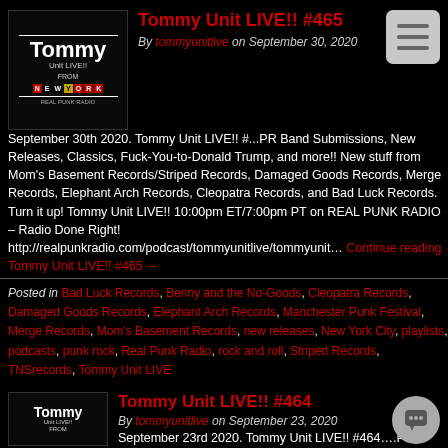[Figure (illustration): Tommy Unit LIVE!! FROM NEW YORK podcast thumbnail — black background with white text and red/yellow colored letter tiles]
Tommy Unit LIVE!! #465
By tommyunitlive on September 30, 2020
September 30th 2020. Tommy Unit LIVE!! #...PR Band Submissions, New Releases, Classics, Fuck-You-to-Donald Trump, and more!! New stuff from Mom's Basement Records/Striped Records, Damaged Goods Records, Merge Records, Elephant Arch Records, Cleopatra Records, and Bad Luck Records. Turn it up! Tommy Unit LIVE!! 10:00pm ET/7:00pm PT on REAL PUNK RADIO – Radio Done Right! http://realpunkradio.com/podcast/tommyunitlive/tommyunit… Continue reading Tommy Unit LIVE!! #465 →
Posted in Bad Luck Records, Benny and the No-Goods, Cleopatra Records, Damaged Goods Records, Elephant Arch Records, Manchester Punk Festival, Merge Records, Mom's Basement Records, new releases, New York City, playlists, podcasts, punk rock, Real Punk Radio, rock and roll, Striped Records, TNSrecords, Tommy Unit LIVE
[Figure (illustration): Tommy Unit LIVE!! FROM podcast thumbnail — same style as above]
Tommy Unit LIVE!! #464
By tommyunitlive on September 23, 2020
September 23rd 2020. Tommy Unit LIVE!! #464….PR